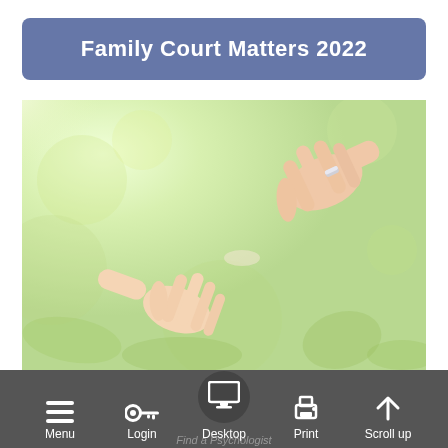Family Court Matters 2022
[Figure (photo): Two adult hands gently touching/reaching toward each other, one with a wedding ring, against a bright green bokeh garden background – symbolising family connection or separation.]
Menu  Login  Desktop  Print  Scroll up